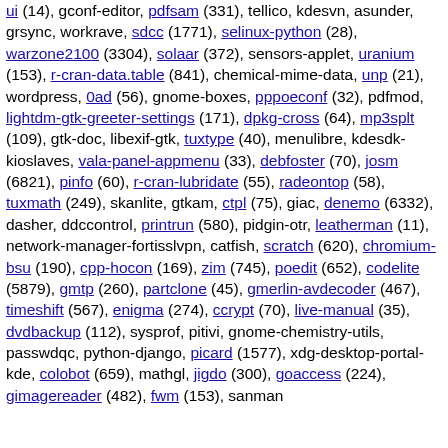ui (14), gconf-editor, pdfsam (331), tellico, kdesvn, asunder, grsync, workrave, sdcc (1771), selinux-python (28), warzone2100 (3304), solaar (372), sensors-applet, uranium (153), r-cran-data.table (841), chemical-mime-data, unp (21), wordpress, 0ad (56), gnome-boxes, pppoeconf (32), pdfmod, lightdm-gtk-greeter-settings (171), dpkg-cross (64), mp3splt (109), gtk-doc, libexif-gtk, tuxtype (40), menulibre, kdesdk-kioslaves, vala-panel-appmenu (33), debfoster (70), josm (6821), pinfo (60), r-cran-lubridate (55), radeontop (58), tuxmath (249), skanlite, gtkam, ctpl (75), giac, denemo (6332), dasher, ddccontrol, printrun (580), pidgin-otr, leatherman (11), network-manager-fortisslvpn, catfish, scratch (620), chromium-bsu (190), cpp-hocon (169), zim (745), poedit (652), codelite (5879), gmtp (260), partclone (45), gmerlin-avdecoder (467), timeshift (567), enigma (274), ccrypt (70), live-manual (35), dvdbackup (112), sysprof, pitivi, gnome-chemistry-utils, passwdqc, python-django, picard (1577), xdg-desktop-portal-kde, colobot (659), mathgl, jigdo (300), goaccess (224), gimagereader (482), fwm (153), sanman